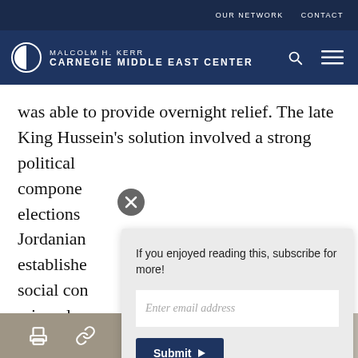OUR NETWORK   CONTACT
MALCOLM H. KERR CARNEGIE MIDDLE EAST CENTER
was able to provide overnight relief. The late King Hussein's solution involved a strong political compone... elections... Jordanian... establishe... social con... miraculo... were afte...
If you enjoyed reading this, subscribe for more!
Share bar icons: print, link, facebook, twitter, whatsapp, messenger, linkedin